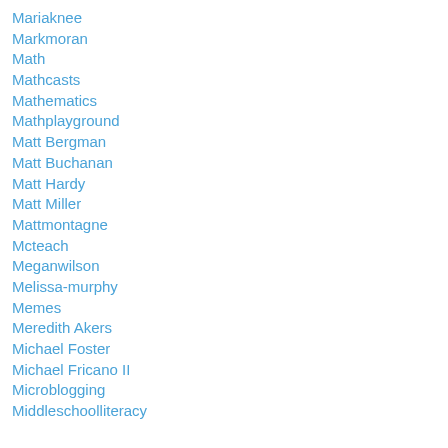Mariaknee
Markmoran
Math
Mathcasts
Mathematics
Mathplayground
Matt Bergman
Matt Buchanan
Matt Hardy
Matt Miller
Mattmontagne
Mcteach
Meganwilson
Melissa-murphy
Memes
Meredith Akers
Michael Foster
Michael Fricano II
Microblogging
Middleschoolliteracy